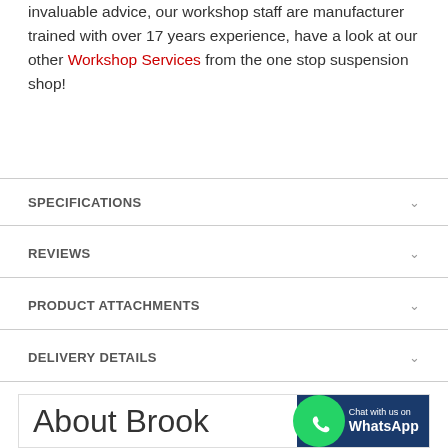invaluable advice, our workshop staff are manufacturer trained with over 17 years experience, have a look at our other Workshop Services from the one stop suspension shop!
SPECIFICATIONS
REVIEWS
PRODUCT ATTACHMENTS
DELIVERY DETAILS
About Brook Suspension